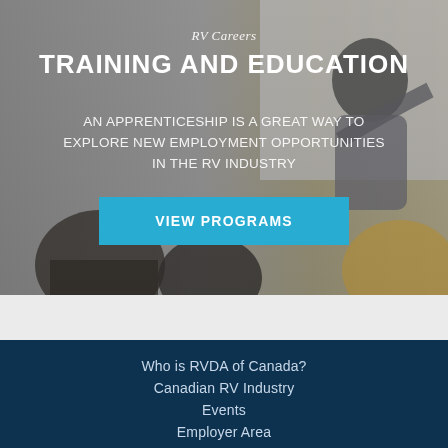[Figure (photo): Hero banner image showing a classroom scene: a presenter writing on a whiteboard viewed from behind, with audience members in the foreground, overlaid with semi-transparent gray tint.]
RV Careers
TRAINING AND EDUCATION
AN APPRENTICESHIP IS A GREAT WAY TO EXPLORE NEW EMPLOYMENT OPPORTUNITIES IN THE RV INDUSTRY
VIEW PROGRAMS
Who is RVDA of Canada?
Canadian RV Industry
Events
Employer Area